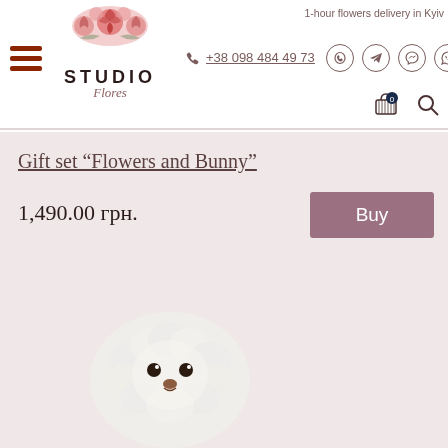1-hour flowers delivery in Kyiv
[Figure (logo): Studio Flores flower shop logo with pink rose illustration above the text STUDIO Flores]
+38 098 484 49 73
Gift set “Flowers and Bunny”
1,490.00 грн.
Buy
[Figure (photo): White crocheted bunny toy photographed from above, showing fluffy head with small dark eyes and brown nose detail]